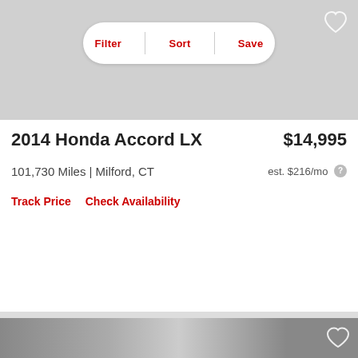Filter | Sort | Save
2014 Honda Accord LX
$14,995
101,730 Miles | Milford, CT
est. $216/mo
Track Price   Check Availability
[Figure (photo): Partial view of a car listing photo at the bottom of the page]